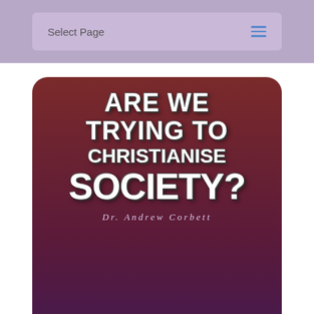Select Page
[Figure (illustration): Book cover with dark maroon/purple background and large bold white text reading 'ARE WE TRYING TO CHRISTIANISE SOCIETY?' with author name 'Dr. Andrew Corbett' at the bottom]